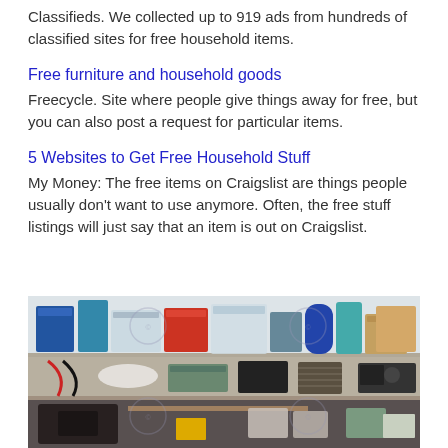Classifieds. We collected up to 919 ads from hundreds of classified sites for free household items.
Free furniture and household goods
Freecycle. Site where people give things away for free, but you can also post a request for particular items.
5 Websites to Get Free Household Stuff
My Money: The free items on Craigslist are things people usually don't want to use anymore. Often, the free stuff listings will just say that an item is out on Craigslist.
[Figure (photo): A cluttered garage storage area with wire shelving holding plastic bins, storage containers, and various household items in disarray below]